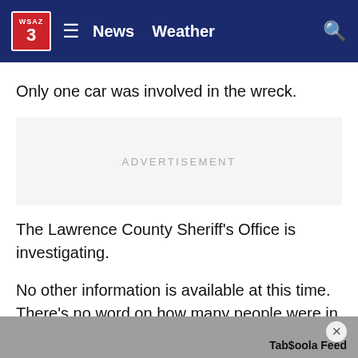WSAZ 3 | News  Weather
Only one car was involved in the wreck.
[Figure (other): Advertisement placeholder block with label ADVERTISEMENT]
The Lawrence County Sheriff's Office is investigating.
No other information is available at this time. There's no word on how many people were in the vehicle.
Keep checking WSAZ Mobile and WSAZ.com for the latest information.
Taboola Feed